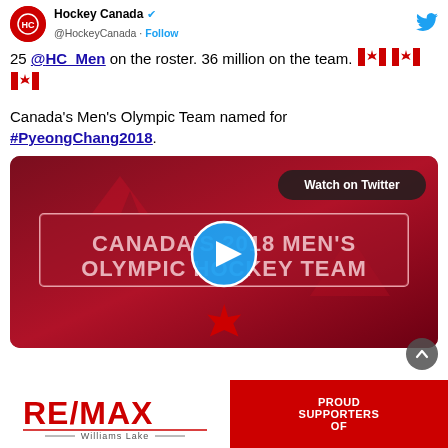Hockey Canada @HockeyCanada · Follow
25 @HC_Men on the roster. 36 million on the team. 🍁🍁🍁
Canada's Men's Olympic Team named for #PyeongChang2018.
[Figure (screenshot): Video thumbnail showing Canada's 2018 Men's Olympic Hockey Team with a play button overlay and 'Watch on Twitter' label]
[Figure (infographic): RE/MAX Williams Lake advertisement banner — white section with RE/MAX logo on left, red section with text 'PROUD SUPPORTERS OF' on right]